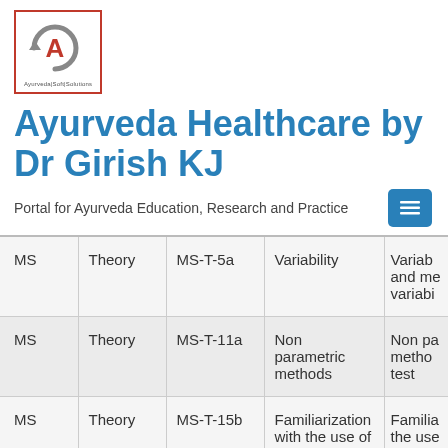[Figure (logo): Ayurveda Soft Solutions logo — red-bordered box with stylized 'A' and circular arrow icon, text below reads 'Ayurveda|Soft|Solutions']
Ayurveda Healthcare by Dr Girish KJ
Portal for Ayurveda Education, Research and Practice
| MS | Theory | MS-T-5a | Variability | Variab... and me... variabi... |
| MS | Theory | MS-T-11a | Non parametric methods | Non pa... metho... test |
| MS | Theory | MS-T-15b | Familiarization with the use of Statistical software | Familia... the use... softwa... Pad |